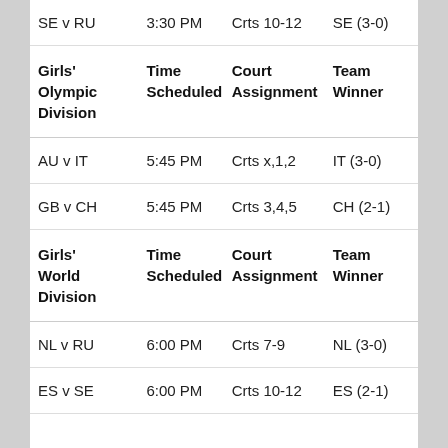| Girls' Olympic Division | Time Scheduled | Court Assignment | Team Winner |
| --- | --- | --- | --- |
| SE v RU | 3:30 PM | Crts 10-12 | SE (3-0) |
| AU v IT | 5:45 PM | Crts x,1,2 | IT (3-0) |
| GB v CH | 5:45 PM | Crts 3,4,5 | CH (2-1) |
| Girls' World Division | Time Scheduled | Court Assignment | Team Winner |
| --- | --- | --- | --- |
| NL v RU | 6:00 PM | Crts 7-9 | NL (3-0) |
| ES v SE | 6:00 PM | Crts 10-12 | ES (2-1) |